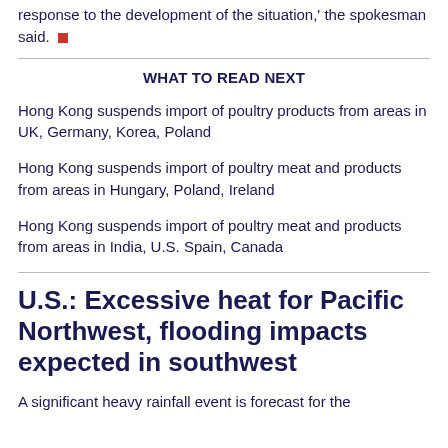response to the development of the situation,' the spokesman said. ■
WHAT TO READ NEXT
Hong Kong suspends import of poultry products from areas in UK, Germany, Korea, Poland
Hong Kong suspends import of poultry meat and products from areas in Hungary, Poland, Ireland
Hong Kong suspends import of poultry meat and products from areas in India, U.S. Spain, Canada
U.S.: Excessive heat for Pacific Northwest, flooding impacts expected in southwest
A significant heavy rainfall event is forecast for the